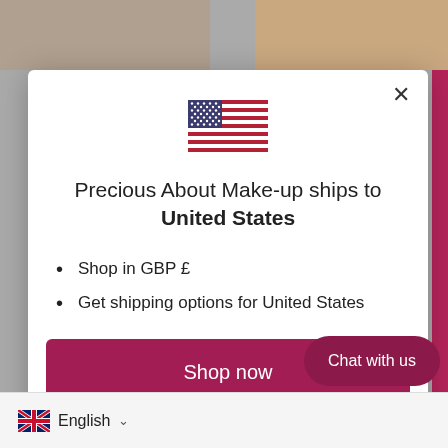[Figure (screenshot): Background product images of makeup items, partially visible behind modal dialog]
[Figure (illustration): US flag SVG inside a modal dialog]
Precious About Make-up ships to United States
Shop in GBP £
Get shipping options for United States
Shop now
Change shipping country
Chat with us
English